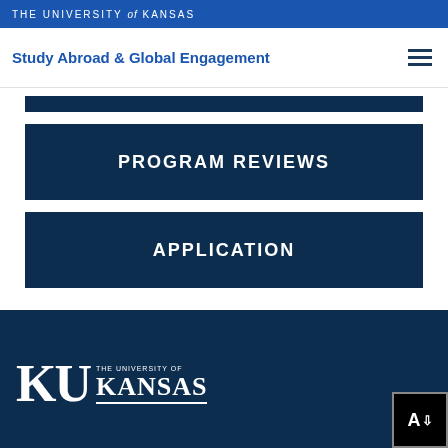THE UNIVERSITY of KANSAS
Study Abroad & Global Engagement
PROGRAM REVIEWS
APPLICATION
[Figure (logo): KU The University of Kansas logo in white on dark navy background]
THE UNIVERSITY OF KANSAS